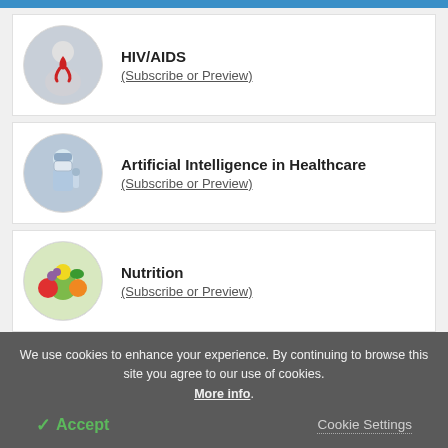HIV/AIDS (Subscribe or Preview)
Artificial Intelligence in Healthcare (Subscribe or Preview)
Nutrition (Subscribe or Preview)
We use cookies to enhance your experience. By continuing to browse this site you agree to our use of cookies. More info.
✓ Accept
Cookie Settings